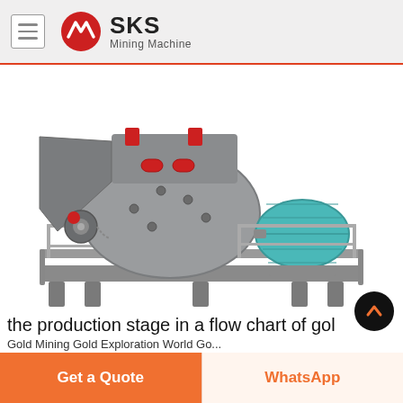SKS Mining Machine
[Figure (photo): Industrial mining machine (hammer mill / impact crusher) mounted on a steel frame platform, with a large blue electric motor on the right side, grey steel body with red fittings on top, photographed on white background.]
the production stage in a flow chart of gol
Gold Mining Gold Exploration World Go...